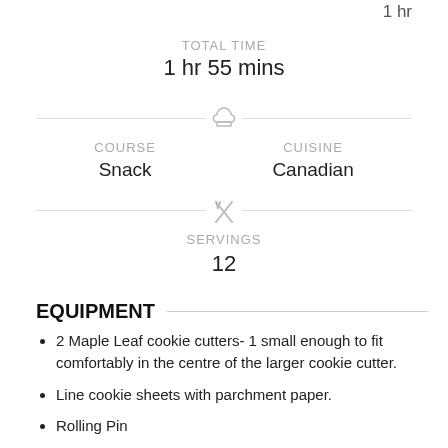1 hr
TOTAL TIME
1 hr 55 mins
COURSE
Snack
CUISINE
Canadian
SERVINGS
12
EQUIPMENT
2 Maple Leaf cookie cutters- 1 small enough to fit comfortably in the centre of the larger cookie cutter.
Line cookie sheets with parchment paper.
Rolling Pin